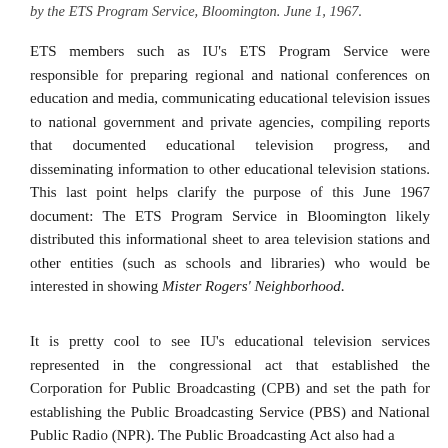by the ETS Program Service, Bloomington. June 1, 1967.
ETS members such as IU's ETS Program Service were responsible for preparing regional and national conferences on education and media, communicating educational television issues to national government and private agencies, compiling reports that documented educational television progress, and disseminating information to other educational television stations. This last point helps clarify the purpose of this June 1967 document: The ETS Program Service in Bloomington likely distributed this informational sheet to area television stations and other entities (such as schools and libraries) who would be interested in showing Mister Rogers' Neighborhood.
It is pretty cool to see IU's educational television services represented in the congressional act that established the Corporation for Public Broadcasting (CPB) and set the path for establishing the Public Broadcasting Service (PBS) and National Public Radio (NPR). The Public Broadcasting Act also had a